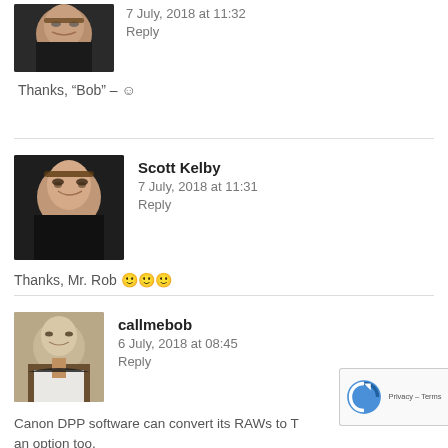[Figure (photo): Partial avatar photo of a person at the top of the page]
7 July, 2018 at 11:32
Reply
Thanks, "Bob" – ☺
[Figure (photo): Avatar photo of Scott Kelby]
Scott Kelby
7 July, 2018 at 11:31
Reply
Thanks, Mr. Rob 🙂🙂🙂
[Figure (photo): Avatar photo of callmebob]
callmebob
6 July, 2018 at 08:45
Reply
Canon DPP software can convert its RAWs to T an option too.
LR should have no problems working on those files.